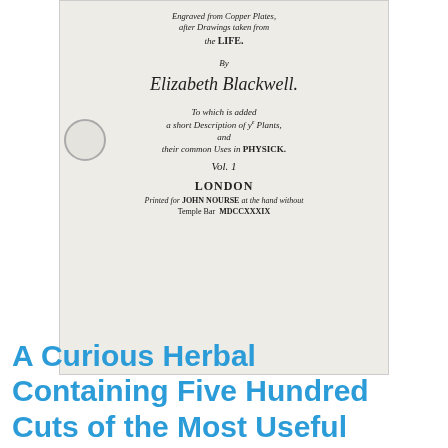[Figure (photo): Scanned title page of an old book. Text in italic/script font reads: 'Engraved from Copper Plates, after Drawings taken from the LIFE. By Elizabeth Blackwell. To which is added a short Description of ye Plants, and their common Uses in PHYSICK. Vol. 1. LONDON Printed for JOHN NOURSE at the hand without Temple Bar MDCCXXXIX.' A circular library stamp is visible on the left side.]
A Curious Herbal Containing Five Hundred Cuts of the Most Useful